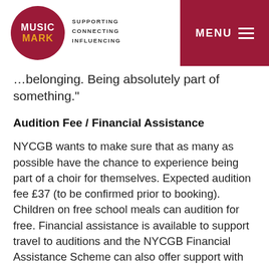MUSIC MARK — SUPPORTING CONNECTING INFLUENCING — MENU
…belonging. Being absolutely part of something.”
Audition Fee / Financial Assistance
NYCGB wants to make sure that as many as possible have the chance to experience being part of a choir for themselves. Expected audition fee £37 (to be confirmed prior to booking). Children on free school meals can audition for free. Financial assistance is available to support travel to auditions and the NYCGB Financial Assistance Scheme can also offer support with costs of membership for successful candidates. More